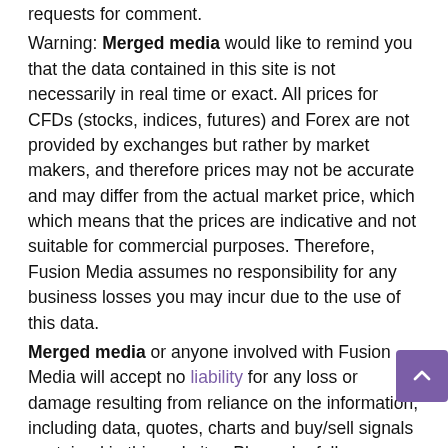requests for comment.
Warning: Merged media would like to remind you that the data contained in this site is not necessarily in real time or exact. All prices for CFDs (stocks, indices, futures) and Forex are not provided by exchanges but rather by market makers, and therefore prices may not be accurate and may differ from the actual market price, which which means that the prices are indicative and not suitable for commercial purposes. Therefore, Fusion Media assumes no responsibility for any business losses you may incur due to the use of this data.
Merged media or anyone involved with Fusion Media will accept no liability for any loss or damage resulting from reliance on the information, including data, quotes, charts and buy/sell signals contained in this website . Please be fully informed of the risks and costs associated with trading in the financial markets, it is one of the riskiest forms of investment possible.
Related Posts:
Everything you need to know about online loan